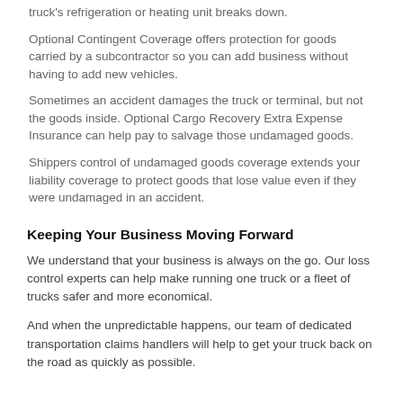truck's refrigeration or heating unit breaks down.
Optional Contingent Coverage offers protection for goods carried by a subcontractor so you can add business without having to add new vehicles.
Sometimes an accident damages the truck or terminal, but not the goods inside. Optional Cargo Recovery Extra Expense Insurance can help pay to salvage those undamaged goods.
Shippers control of undamaged goods coverage extends your liability coverage to protect goods that lose value even if they were undamaged in an accident.
Keeping Your Business Moving Forward
We understand that your business is always on the go. Our loss control experts can help make running one truck or a fleet of trucks safer and more economical.
And when the unpredictable happens, our team of dedicated transportation claims handlers will help to get your truck back on the road as quickly as possible.